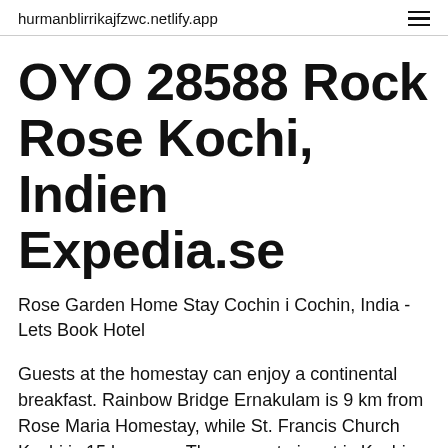hurmanblirrikajfzwc.netlify.app
OYO 28588 Rock Rose Kochi, Indien Expedia.se
Rose Garden Home Stay Cochin i Cochin, India - Lets Book Hotel
Guests at the homestay can enjoy a continental breakfast. Rainbow Bridge Ernakulam is 9 km from Rose Maria Homestay, while St. Francis Church Kochi is 15 km away.The nearest airport is Kochi